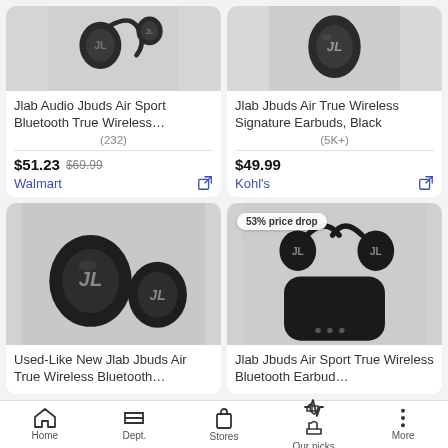[Figure (photo): JLab Jbuds Air Sport Bluetooth True Wireless earbuds product image on grey background]
Jlab Audio Jbuds Air Sport Bluetooth True Wireless…
(232)
$51.23 $69.99
Walmart
[Figure (photo): JLab Jbuds Air True Wireless Signature Earbuds Black product image on grey background]
Jlab Jbuds Air True Wireless Signature Earbuds, Black
(5K+)
$49.99
Kohl's
[Figure (photo): Used-Like New JLab Jbuds Air True Wireless Bluetooth earbuds product image on grey background]
Used-Like New Jlab Jbuds Air True Wireless Bluetooth…
[Figure (photo): JLab Jbuds Air Sport True Wireless Bluetooth Earbuds with case, 53% price drop badge]
53% price drop
Jlab Jbuds Air Sport True Wireless Bluetooth Earbud…
Home  Dept.  Stores  Our picks  More